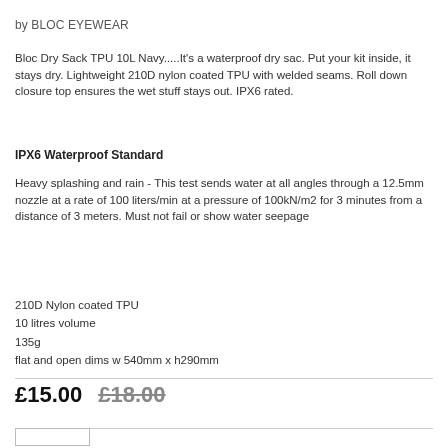by BLOC EYEWEAR
Bloc Dry Sack TPU 10L Navy.....It's a waterproof dry sac.  Put your kit inside, it stays dry.  Lightweight 210D nylon coated TPU with welded seams.  Roll down closure top ensures the wet stuff stays out.  IPX6 rated.
IPX6 Waterproof Standard
Heavy splashing and rain - This test sends water at all angles through a 12.5mm nozzle at a rate of 100 liters/min at a pressure of 100kN/m2 for 3 minutes from a distance of 3 meters. Must not fail or show water seepage
210D Nylon coated TPU
10 litres volume
135g
flat and open dims w 540mm x h290mm
£15.00  £18.00